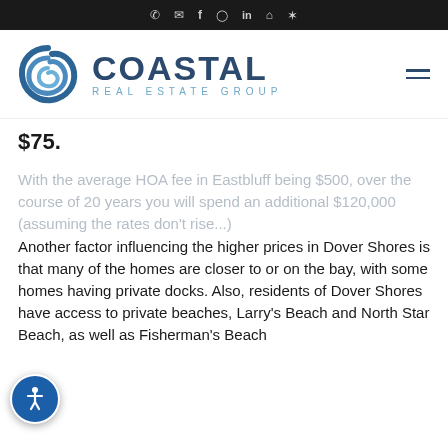Coastal Real Estate Group — navigation icons (phone, email, facebook, instagram, linkedin, zillow, yelp)
[Figure (logo): Coastal Real Estate Group logo with spiral wave icon and company name]
$75.
With the average HOA fee in Eastbluff being $500, over the course of 20 years you will spend an additional $120,000 (assuming the rates don't rise...) Another factor influencing the higher prices in Dover Shores is that many of the homes are closer to or on the bay, with some homes having private docks. Also, residents of Dover Shores have access to private beaches, Larry's Beach and North Star Beach, as well as Fisherman's Beach